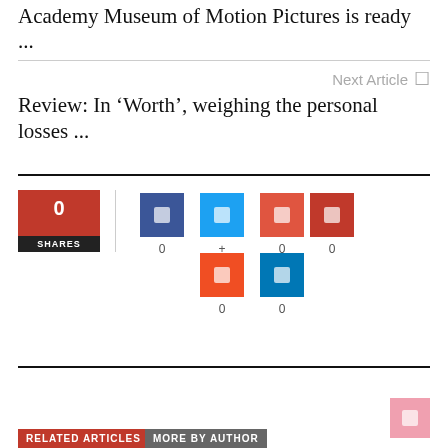Academy Museum of Motion Pictures is ready ...
Next Article
Review: In ‘Worth’, weighing the personal losses ...
[Figure (infographic): Social share counter widget showing 0 SHARES with social media buttons: Facebook (0), Twitter (+), Google+ (0), Pinterest (0), Reddit (0), LinkedIn (0)]
[Figure (infographic): Related Articles and More by Author tab buttons at bottom of page]